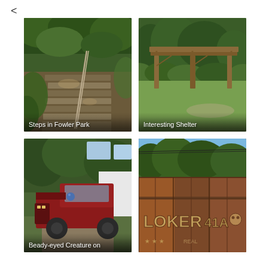<
[Figure (photo): Outdoor stone stairway with metal railing surrounded by green leafy foliage in Fowler Park. Caption: Steps in Fowler Park]
[Figure (photo): Wooden open-air pavilion shelter with timber posts on green grass surrounded by trees. Caption: Interesting Shelter]
[Figure (photo): Old red pickup truck parked under trees near a white building. Caption: Beady-eyed Creature on]
[Figure (photo): Graffiti-covered rusty metal wall or shipping container with green trees and blue sky visible above.]